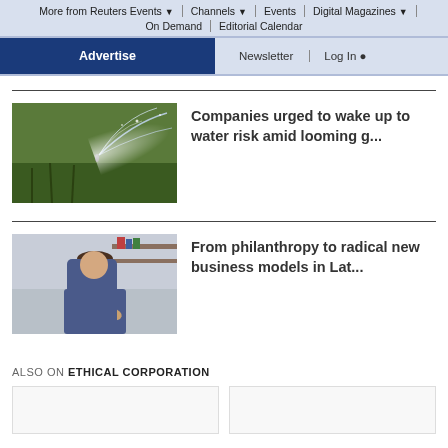More from Reuters Events | Channels | Events | Digital Magazines | On Demand | Editorial Calendar
Advertise | Newsletter | Log In
[Figure (photo): Sprinkler spraying water over crops/grass in a field]
Companies urged to wake up to water risk amid looming g...
[Figure (photo): Man smiling clapping hands in a home office/study setting]
From philanthropy to radical new business models in Lat...
ALSO ON ETHICAL CORPORATION